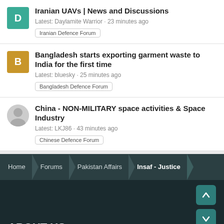Iranian UAVs | News and Discussions
Latest: Daylamite Warrior · 23 minutes ago
Iranian Defence Forum
Bangladesh starts exporting garment waste to India for the first time
Latest: bluesky · 25 minutes ago
Bangladesh Defence Forum
China - NON-MILITARY space activities & Space Industry
Latest: LKJ86 · 43 minutes ago
Chinese Defence Forum
Home > Forums > Pakistan Affairs > Insaf - Justice
ABOUT US
Defence.pk is a one stop resource for Pakistan defence,